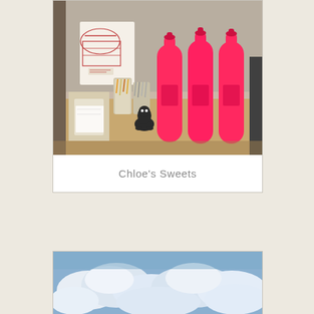[Figure (photo): Photo of a bakery/cafe counter with three bright pink/neon water bottles, a napkin holder, pencil cups, a black figurine, and a card with cake illustration against a white brick wall background.]
Chloe’s Sweets
[Figure (photo): Photo of blue sky with white fluffy clouds, partially cropped at the bottom of the page.]